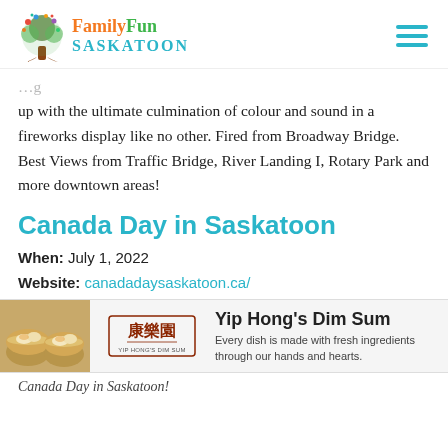FamilyFun SASKATOON
up with the ultimate culmination of colour and sound in a fireworks display like no other. Fired from Broadway Bridge. Best Views from Traffic Bridge, River Landing I, Rotary Park and more downtown areas!
Canada Day in Saskatoon
When: July 1, 2022
Website: canadadaysaskatoon.ca/
[Figure (infographic): Yip Hong's Dim Sum advertisement with dim sum food photo, Chinese characters logo, and tagline: Every dish is made with fresh ingredients through our hands and hearts.]
Canada Day in Saskatoon!